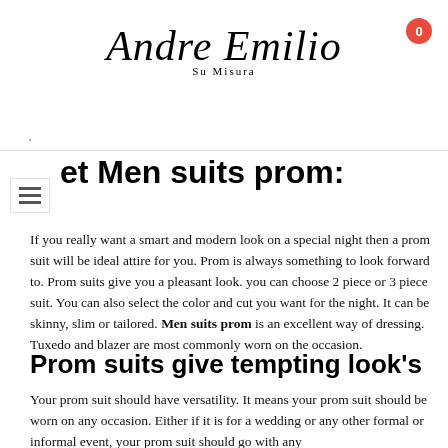Andre Emilio Su Misura
et Men suits prom:
If you really want a smart and modern look on a special night then a prom suit will be ideal attire for you. Prom is always something to look forward to. Prom suits give you a pleasant look. you can choose 2 piece or 3 piece suit. You can also select the color and cut you want for the night. It can be skinny, slim or tailored. Men suits prom is an excellent way of dressing. Tuxedo and blazer are most commonly worn on the occasion.
Prom suits give tempting look’s
Your prom suit should have versatility. It means your prom suit should be worn on any occasion. Either if it is for a wedding or any other formal or informal event, your prom suit should go with any